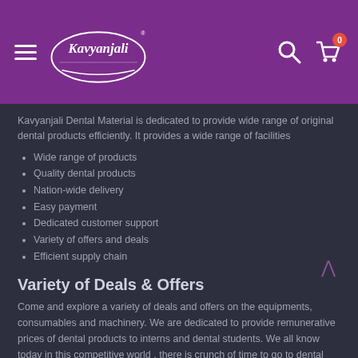[Figure (logo): Kavyanjali brand logo with hamburger menu icon on purple header background, with search and cart icons on the right]
Kavyanjali Dental Material is dedicated to provide wide range of original dental products efficiently. It provides a wide range of facilities
Wide range of products
Quality dental products
Nation-wide delivery
Easy payment
Dedicated customer support
Variety of offers and deals
Efficient supply chain
Variety of Deals & Offers
Come and explore a variety of deals and offers on the equipments, consumables and machinery. We are dedicated to provide remunerative prices of dental products to interns and dental students. We all know today in this competitive world , there is crunch of time to go to dental shop and order. So here we are making life of every professional and student easy with our wide range of products which are just a click away from getting delivered to you efficiently with